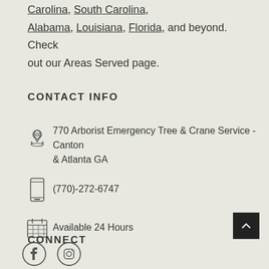Carolina, South Carolina, Alabama, Louisiana, Florida, and beyond. Check out our Areas Served page.
CONTACT INFO
770 Arborist Emergency Tree & Crane Service - Canton & Atlanta GA
(770)-272-6747
Available 24 Hours
CONNECT